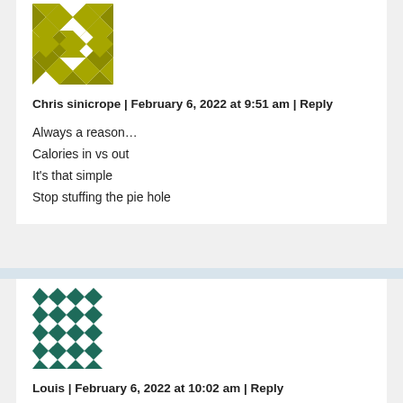[Figure (illustration): Olive/gold colored geometric quilt-pattern avatar for user Chris sinicrope]
Chris sinicrope | February 6, 2022 at 9:51 am | Reply
Always a reason...
Calories in vs out
It's that simple
Stop stuffing the pie hole
[Figure (illustration): Teal/dark green geometric quilt-pattern avatar for user Louis]
Louis | February 6, 2022 at 10:02 am | Reply
The facts: At least 2.8 million people each